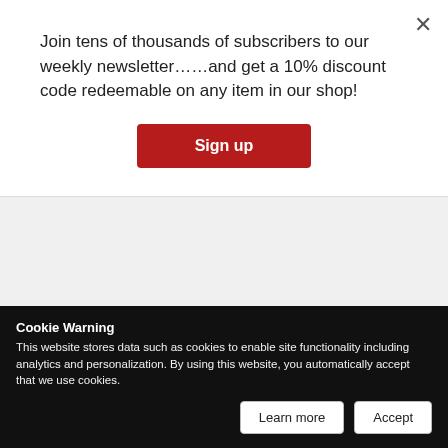Join tens of thousands of subscribers to our weekly newsletter……and get a 10% discount code redeemable on any item in our shop!
[Figure (other): Sign up button - dark red/maroon button with white text reading 'Sign up']
COLOMBIA - HEALTH
Álvaro Torres
CEO, Khiron
ÁLVARO TORRES
[Figure (photo): Photo of Álvaro Torres, a smiling man in a dark jacket]
COLOMBIA - HEALTH
Cookie Warning
This website stores data such as cookies to enable site functionality including analytics and personalization. By using this website, you automatically accept that we use cookies.